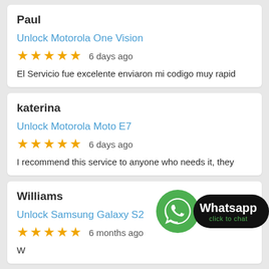Paul
Unlock Motorola One Vision
★★★★★  6 days ago
El Servicio fue excelente enviaron mi codigo muy rapid
katerina
Unlock Motorola Moto E7
★★★★★  6 days ago
I recommend this service to anyone who needs it, they
Williams
Unlock Samsung Galaxy S2
★★★★★  6 months ago
[Figure (logo): WhatsApp click to chat button with green WhatsApp icon]